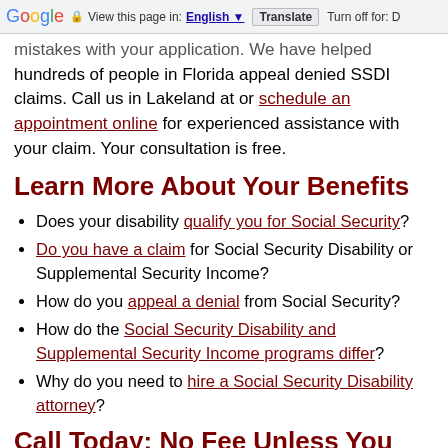Google | View this page in: English | Translate | Turn off for: D
mistakes with your application. We have helped hundreds of people in Florida appeal denied SSDI claims. Call us in Lakeland at or schedule an appointment online for experienced assistance with your claim. Your consultation is free.
Learn More About Your Benefits
Does your disability qualify you for Social Security?
Do you have a claim for Social Security Disability or Supplemental Security Income?
How do you appeal a denial from Social Security?
How do the Social Security Disability and Supplemental Security Income programs differ?
Why do you need to hire a Social Security Disability attorney?
Call Today: No Fee Unless You